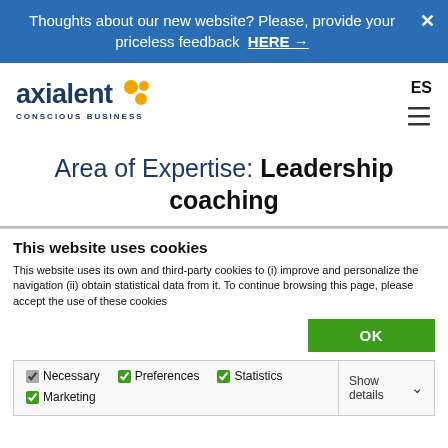Thoughts about our new website? Please, provide your priceless feedback HERE → ✕
[Figure (logo): Axialent Conscious Business logo with orange dots and bold navy text]
ES
Area of Expertise: Leadership coaching
This website uses cookies
This website uses its own and third-party cookies to (i) improve and personalize the navigation (ii) obtain statistical data from it. To continue browsing this page, please accept the use of these cookies
OK
Necessary  Preferences  Statistics  Marketing  Show details